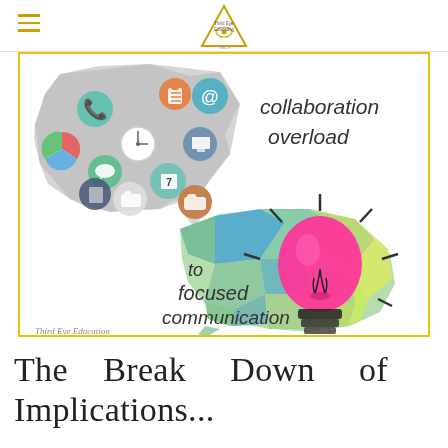Third Eye Education (logo)
[Figure (illustration): Infographic showing two brain-shaped speech bubbles. The upper-left bubble is grey and filled with colorful app/technology icons (phone, email at-sign, calendar, chat, pie chart, tablet, clock, folder, etc.) representing 'collaboration overload'. The lower-right bubble is colorful (green, blue, yellow, pink polygonal style) with a bright pink lightbulb in the center with rays, representing 'to focused communication'. Text on the image reads: 'collaboration overload' (upper right of first brain) and 'to focused communication' (lower left of second brain). Bottom-left corner has 'Third Eye Education' watermark.]
The Break Down of Implications...